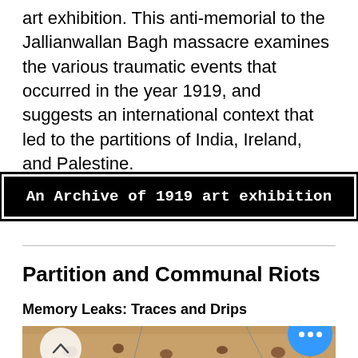art exhibition. This anti-memorial to the Jallianwallan Bagh massacre examines the various traumatic events that occurred in the year 1919, and suggests an international context that led to the partitions of India, Ireland, and Palestine.
[Figure (screenshot): Black button/banner with white bold monospace text reading 'An Archive of 1919 art exhibition', outlined with a white inner border and black outer border]
Partition and Communal Riots
Memory Leaks: Traces and Drips
[Figure (photo): Installation photo of an art exhibition showing small bronze/copper pots arranged on a wooden floor and hanging from the ceiling on metal chains, with a navigation arrow circle and a blue 'more' button overlay]